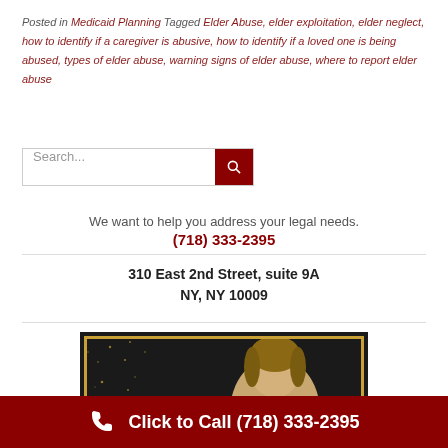Posted in Medicaid Planning   Tagged Elder Abuse, elder exploitation, elder neglect, how to identify if a caregiver is abusive, how to identify if a loved one is being abused, types of elder abuse, warning signs of elder abuse, where to report elder abuse
[Figure (screenshot): Search input box with dark red search button containing magnifying glass icon]
We want to help you address your legal needs.
(718) 333-2395
310 East 2nd Street, suite 9A
NY, NY 10009
[Figure (photo): Photo of a person with dark background and gold frame, sparkle effects on left side]
Click to Call (718) 333-2395